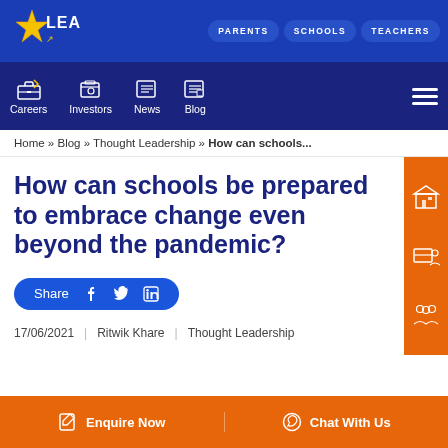[Figure (screenshot): LEAD education platform website header with logo, navigation buttons (PARENTS, SCHOOLS, TEACHERS), secondary nav (Careers, Investors, News, Blog), breadcrumb trail, article title, share bar, and meta information.]
LEAD | PARENTS | SCHOOLS | TEACHERS
Careers | Investors | News | Blog
Home » Blog » Thought Leadership » How can schools...
How can schools be prepared to embrace change even beyond the pandemic?
Share
17/06/2021  |  Ritwik Khare  |  Thought Leadership
Enquire Now   Chat With Us